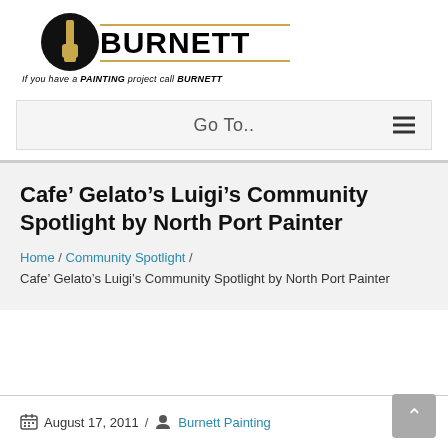[Figure (logo): Burnett Painting logo: black circle with gold paintbrush icon, bold BURNETT text with gold horizontal lines, tagline 'If you have a PAINTING project call BURNETT']
Go To..
Cafe’ Gelato’s Luigi’s Community Spotlight by North Port Painter
Home / Community Spotlight / Cafe’ Gelato’s Luigi’s Community Spotlight by North Port Painter
August 17, 2011 / Burnett Painting